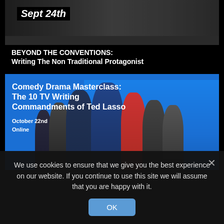[Figure (screenshot): Card 1: Dark cinematic image with faces, showing 'Sept 24th' date label]
BEYOND THE CONVENTIONS: Writing The Non Traditional Protagonist
[Figure (screenshot): Card 2: Blue background with Ted Lasso cast photo, showing event info]
Comedy Drama Masterclass: The 10 TV Writing Commandments of Ted Lasso
October 22nd
Online
We use cookies to ensure that we give you the best experience on our website. If you continue to use this site we will assume that you are happy with it.
OK